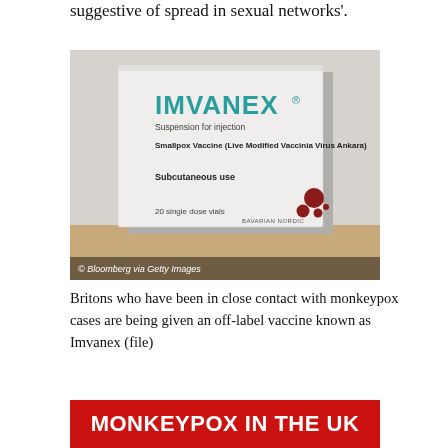suggestive of spread in sexual networks'.
[Figure (photo): A white pharmaceutical box labeled IMVANEX, Suspension for injection, Smallpox Vaccine (Live Modified Vaccinia Virus Ankara), Subcutaneous use, 20 single dose vials, Bavarian Nordic. Photo credit: Bloomberg via Getty Images.]
Britons who have been in close contact with monkeypox cases are being given an off-label vaccine known as Imvanex (file)
[Figure (infographic): Red banner reading MONKEYPOX IN THE UK in bold white text]